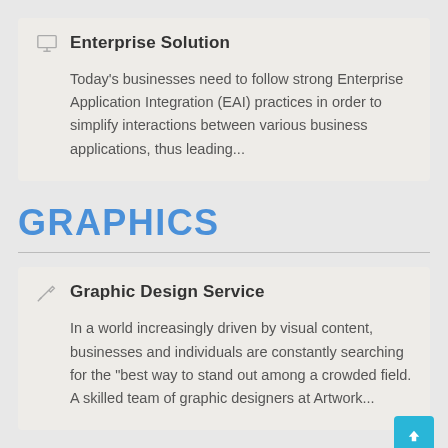Enterprise Solution
Today's businesses need to follow strong Enterprise Application Integration (EAI) practices in order to simplify interactions between various business applications, thus leading...
GRAPHICS
Graphic Design Service
In a world increasingly driven by visual content, businesses and individuals are constantly searching for the "best way to stand out among a crowded field. A skilled team of graphic designers at Artwork...